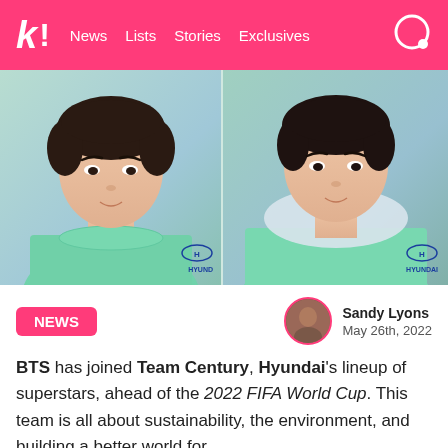k! News Lists Stories Exclusives
[Figure (photo): Two BTS members wearing mint green Hyundai-branded tops, side by side. Left person wears a crew-neck top, right person wears a hoodie. Both have Hyundai logo on chest. Background is teal/mint gradient.]
NEWS
Sandy Lyons
May 26th, 2022
BTS has joined Team Century, Hyundai's lineup of superstars, ahead of the 2022 FIFA World Cup. This team is all about sustainability, the environment, and building a better world for